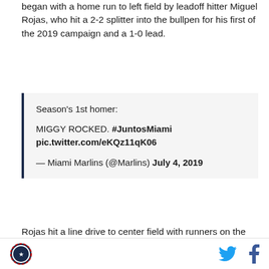began with a home run to left field by leadoff hitter Miguel Rojas, who hit a 2-2 splitter into the bullpen for his first of the 2019 campaign and a 1-0 lead.
Season's 1st homer:

MIGGY ROCKED. #JuntosMiami pic.twitter.com/eKQz11qK06

— Miami Marlins (@Marlins) July 4, 2019
Rojas hit a line drive to center field with runners on the